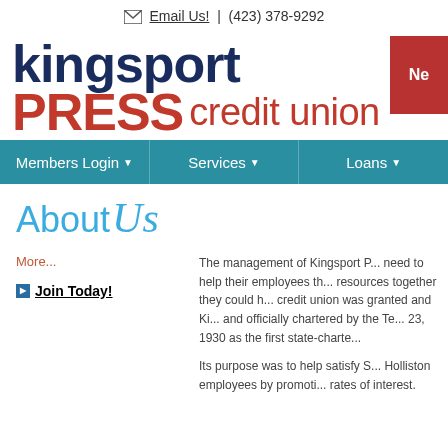Email Us! | (423) 378-9292
[Figure (logo): Kingsport PRESS credit union logo with dark navy 'kingsport' text and red 'PRESS credit union' text, plus a red box on the right]
Members Login | Services | Loans
About Us
More...
Join Today!
The management of Kingsport P... need to help their employees th... resources together they could h... credit union was granted and Ki... and officially chartered by the Te... 23, 1930 as the first state-charte...
Its purpose was to help satisfy S... Holliston employees by promoti... rates of interest.